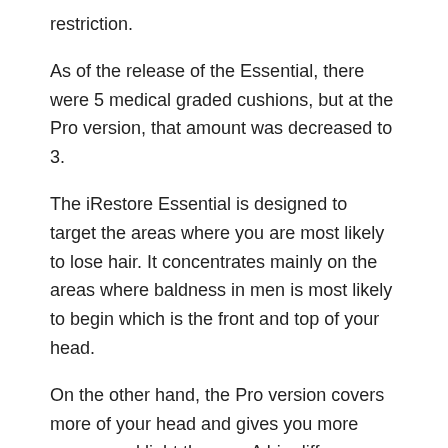restriction.
As of the release of the Essential, there were 5 medical graded cushions, but at the Pro version, that amount was decreased to 3.
The iRestore Essential is designed to target the areas where you are most likely to lose hair. It concentrates mainly on the areas where baldness in men is most likely to begin which is the front and top of your head.
On the other hand, the Pro version covers more of your head and gives you more energy and light therapy. A big difference with the Essential version, the Pro version covers most of the areas on your head, including the backside of your head and the sides of your head.
Despite the iRestore Pro's higher cost, the 282 medical-grade lasers make it a powerful, efficient laser which gives you faster and